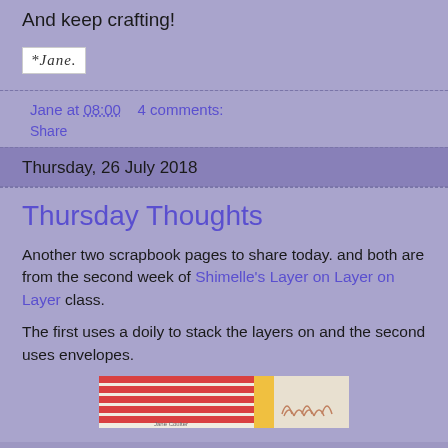And keep crafting!
[Figure (illustration): Handwritten signature reading '*Jane.' on a white rectangular background]
Jane at 08:00    4 comments:
Share
Thursday, 26 July 2018
Thursday Thoughts
Another two scrapbook pages to share today. and both are from the second week of Shimelle's Layer on Layer on Layer class.
The first uses a doily to stack the layers on and the second uses envelopes.
[Figure (photo): Partial view of a scrapbook page showing colorful striped and patterned paper strips]